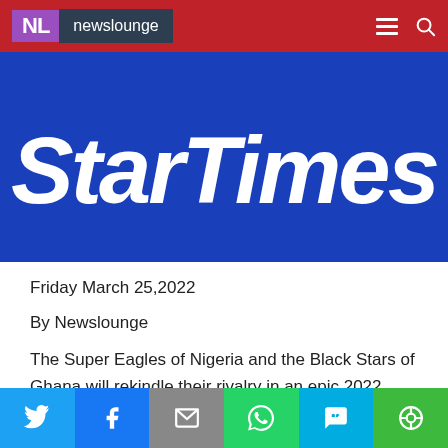NL newslounge
[Figure (photo): StarTimes logo banner — white italic 'StarTimes' text on blue background]
Friday March 25,2022
By Newslounge
The Super Eagles of Nigeria and the Black Stars of Ghana will rekindle their rivalry in an epic 2022 FIFA World Cup qualifier showing live on StarTimes this Friday at 8:30 pm.
The first leg holds at the Baba Yara Stadium in Kumasi and will be broadcast on NTA channels